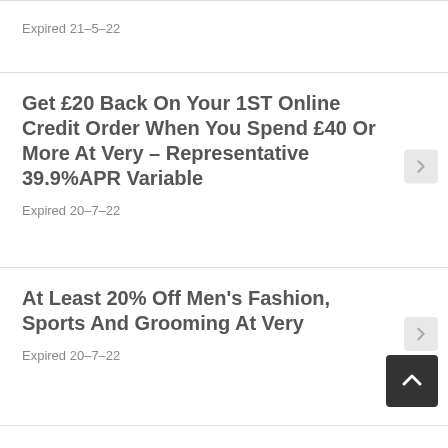Expired 21-5-22
Get £20 Back On Your 1ST Online Credit Order When You Spend £40 Or More At Very – Representative 39.9%APR Variable
Expired 20-7-22
At Least 20% Off Men's Fashion, Sports And Grooming At Very
Expired 20-7-22
Black Friday At Very With Up To